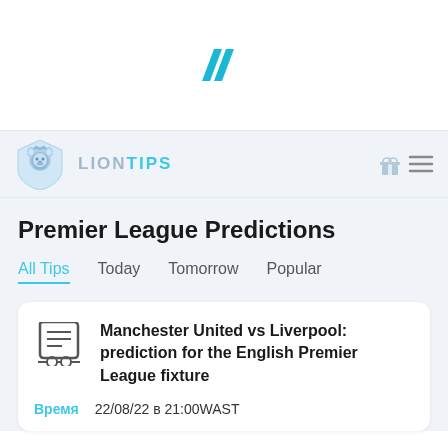[Figure (logo): Teal double-quote/slash icon at top center]
LIONTIPS
Premier League Predictions
All Tips
Today
Tomorrow
Popular
Manchester United vs Liverpool: prediction for the English Premier League fixture
Время  22/08/22 в 21:00WAST